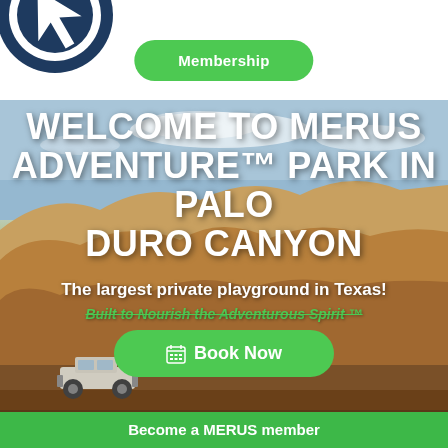[Figure (logo): Circular logo with arrow/navigation icon, dark navy blue, partially visible at top left]
Membership
[Figure (photo): Outdoor landscape photo of Palo Duro Canyon with red/orange canyon walls, blue sky with clouds, and a jeep on a rocky trail]
WELCOME TO MERUS ADVENTURE™ PARK IN PALO DURO CANYON
The largest private playground in Texas!
Built to Nourish the Adventurous Spirit ™
Book Now
Become a MERUS member